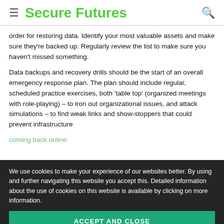≡ Secure Futures 🔍
order for restoring data. Identify your most valuable assets and make sure they're backed up. Regularly review the list to make sure you haven't missed something.
Data backups and recovery drills should be the start of an overall emergency response plan. The plan should include regular, scheduled practice exercises, both 'table top' (organized meetings with role-playing) – to iron out organizational issues, and attack simulations – to find weak links and show-stoppers that could prevent infrastructure coming back online.
We use cookies to make your experience of our websites better. By using and further navigating this website you accept this. Detailed information about the use of cookies on this website is available by clicking on more information.
ACCEPT AND CLOSE
Your response plan should also include getting
breach. Investigate carefully to make sure you